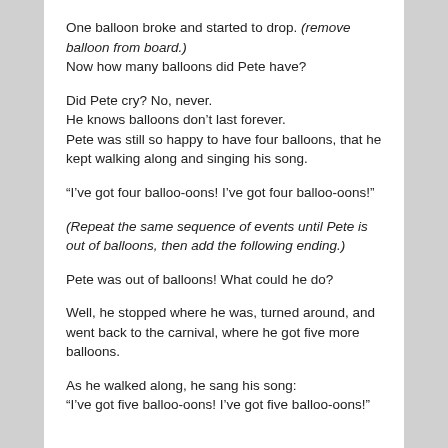One balloon broke and started to drop. (remove balloon from board.) Now how many balloons did Pete have?
Did Pete cry? No, never. He knows balloons don’t last forever. Pete was still so happy to have four balloons, that he kept walking along and singing his song.
“I’ve got four balloo-oons! I’ve got four balloo-oons!”
(Repeat the same sequence of events until Pete is out of balloons, then add the following ending.)
Pete was out of balloons! What could he do?
Well, he stopped where he was, turned around, and went back to the carnival, where he got five more balloons.
As he walked along, he sang his song: “I’ve got five balloo-oons! I’ve got five balloo-oons!”